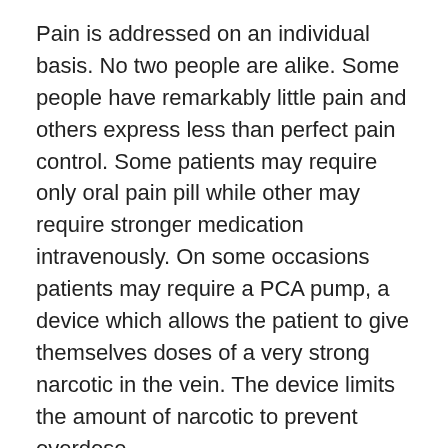Pain is addressed on an individual basis. No two people are alike. Some people have remarkably little pain and others express less than perfect pain control. Some patients may require only oral pain pill while other may require stronger medication intravenously. On some occasions patients may require a PCA pump, a device which allows the patient to give themselves doses of a very strong narcotic in the vein. The device limits the amount of narcotic to prevent overdose.
Diet
Initially, you will be given liquids to drink. Your diet will rapidly be advanced to regular food, as you tolerate it.
Presc